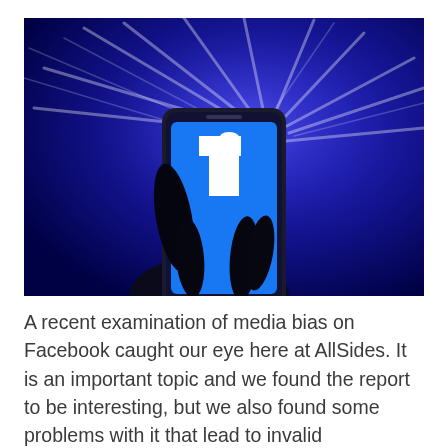[Figure (photo): A hand holding a smartphone displaying the Facebook 'f' logo on its screen, set against a vivid blue glowing background with light streaks radiating outward.]
A recent examination of media bias on Facebook caught our eye here at AllSides. It is an important topic and we found the report to be interesting, but we also found some problems with it that lead to invalid conclusions.